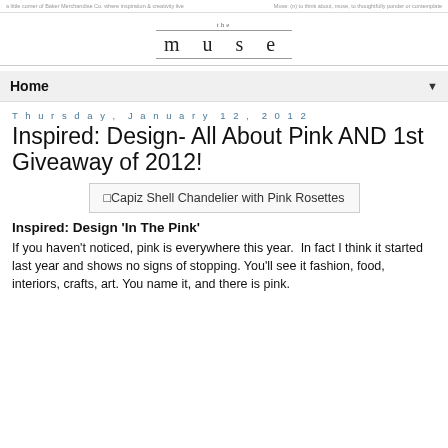a little corner of Baker Merchandise Co. where inspiration & creativity live | Muse: (n) to think about, muse, to thoughtfully ponder or contemplate
the muse
Home ▼
Thursday, January 12, 2012
Inspired: Design- All About Pink AND 1st Giveaway of 2012!
[Figure (photo): Capiz Shell Chandelier with Pink Rosettes - broken image placeholder]
Inspired: Design 'In The Pink'
If you haven't noticed, pink is everywhere this year.  In fact I think it started last year and shows no signs of stopping. You'll see it fashion, food, interiors, crafts, art. You name it, and there is pink.